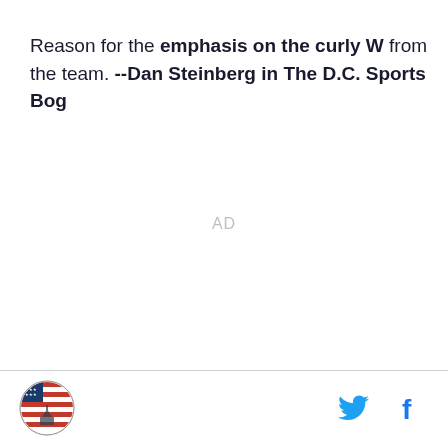Reason for the emphasis on the curly W from the team. --Dan Steinberg in The D.C. Sports Bog
AD
[Figure (logo): Circular logo with American flag and Capitol building silhouette]
[Figure (logo): Twitter bird icon in blue]
[Figure (logo): Facebook f icon in blue]